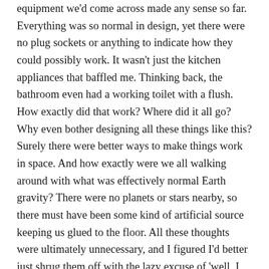equipment we'd come across made any sense so far. Everything was so normal in design, yet there were no plug sockets or anything to indicate how they could possibly work. It wasn't just the kitchen appliances that baffled me. Thinking back, the bathroom even had a working toilet with a flush. How exactly did that work? Where did it all go? Why even bother designing all these things like this? Surely there were better ways to make things work in space. And how exactly were we all walking around with what was effectively normal Earth gravity? There were no planets or stars nearby, so there must have been some kind of artificial source keeping us glued to the floor. All these thoughts were ultimately unnecessary, and I figured I'd better just shrug them off with the lazy excuse of 'well, I guess this is the future.' I felt like an old man trying to understand how mobile phones work. Better get used to it.
	No sooner had Travis started his odd little hands-on fridge